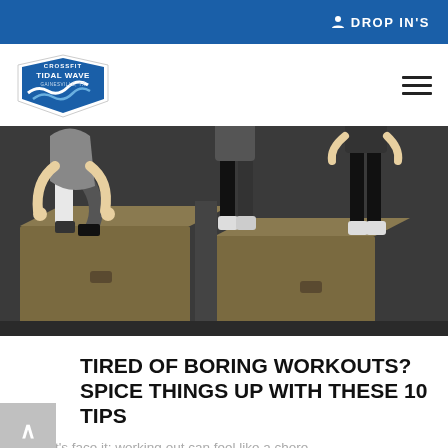DROP IN'S
[Figure (logo): CrossFit Tidal Wave logo with wave graphic]
[Figure (photo): People doing box jump exercises at a CrossFit gym, showing legs and torsos on wooden plyo boxes]
TIRED OF BORING WORKOUTS? SPICE THINGS UP WITH THESE 10 TIPS
Let's face it: working out can feel like a chore